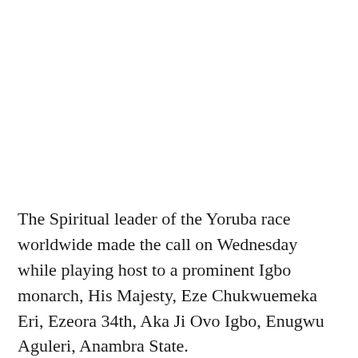The Spiritual leader of the Yoruba race worldwide made the call on Wednesday while playing host to a prominent Igbo monarch, His Majesty, Eze Chukwuemeka Eri, Ezeora 34th, Aka Ji Ovo Igbo, Enugwu Aguleri, Anambra State.
Ooni Ogunwusi who is the Co-chairman of the National Council of Traditional Rulers of Nigeria